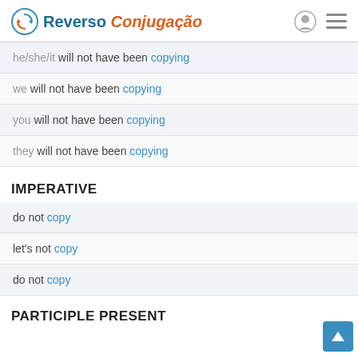Reverso Conjugação
he/she/it will not have been copying
we will not have been copying
you will not have been copying
they will not have been copying
IMPERATIVE
do not copy
let's not copy
do not copy
PARTICIPLE PRESENT